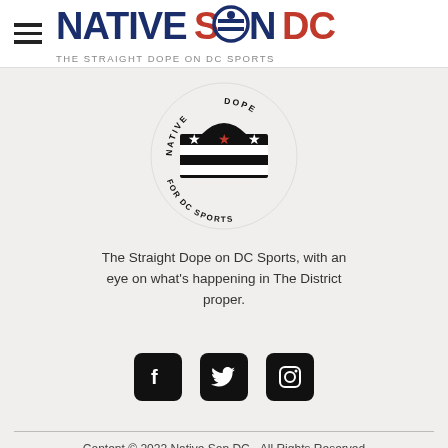[Figure (logo): NativeSonDC logo header with hamburger menu icon and site name 'NATIVE SON DC - THE STRAIGHT DOPE ON DC SPORTS']
[Figure (logo): NativeSonDC circular badge logo showing DC flag with stars and 'NATIVE DOPE FOR DC SPORTS' text around the border]
The Straight Dope on DC Sports, with an eye on what's happening in The District proper.
[Figure (infographic): Social media icons: Facebook, Twitter, Instagram]
Content © 2022 Native Son DC - All Rights Reserved